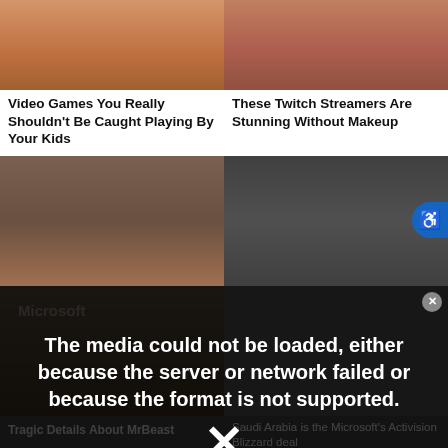[Figure (photo): Thumbnail of a woman's face, close-up, top-left card]
[Figure (photo): Thumbnail of a woman wearing a choker necklace, top-right card]
Video Games You Really Shouldn't Be Caught Playing By Your Kids
These Twitch Streamers Are Stunning Without Makeup
[Figure (photo): Close-up of MrBeast's face]
[Figure (photo): Close-up of Markiplier's face with glasses]
[Figure (photo): Microsoft store/signage image with media error overlay]
Saudi Arabia is the Microsoft's Activision Blizzard deal
Tragic Details About MrBeast
The Tragedy Of Markiplier Is So Utterly Sad
The media could not be loaded, either because the server or network failed or because the format is not supported.